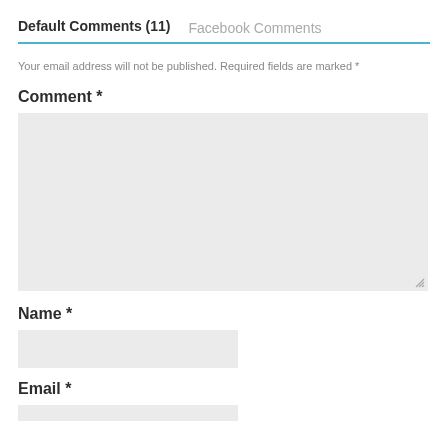Default Comments (11)   Facebook Comments
Your email address will not be published. Required fields are marked *
Comment *
[Figure (screenshot): Empty comment textarea input box with light gray background and resize handle]
Name *
[Figure (screenshot): Empty name text input box with light gray background]
Email *